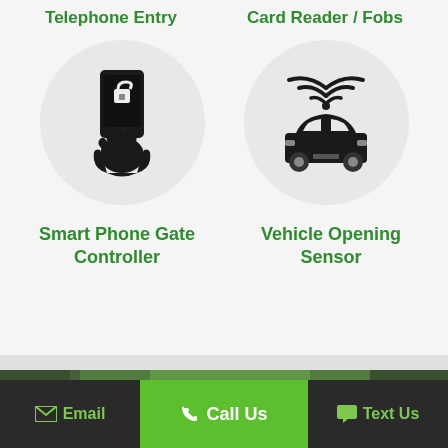Telephone Entry    Card Reader / Fobs
[Figure (illustration): Hand holding a smartphone with a lock icon on the screen]
[Figure (illustration): Car with wireless/signal waves above it indicating vehicle sensor]
Smart Phone Gate Controller
Vehicle Opening Sensor
[Figure (photo): Green foliage/landscape photo strip]
Email    Call Us    Text Us